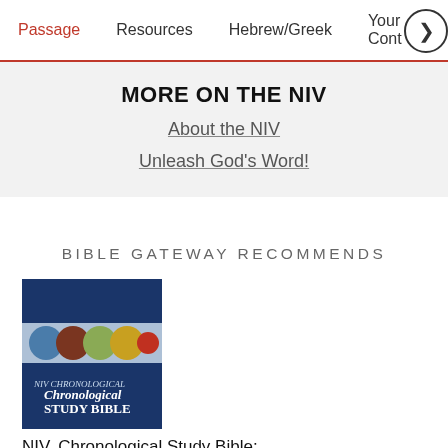Passage  Resources  Hebrew/Greek  Your Cont…
MORE ON THE NIV
About the NIV
Unleash God's Word!
BIBLE GATEWAY RECOMMENDS
[Figure (photo): Book cover of NIV Chronological Study Bible — dark blue cover with circular icons at top and title text in white]
NIV, Chronological Study Bible: